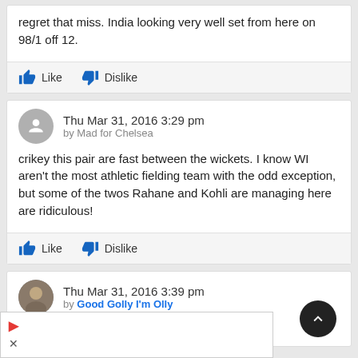regret that miss. India looking very well set from here on 98/1 off 12.
Like  Dislike
Thu Mar 31, 2016 3:29 pm
by Mad for Chelsea
crikey this pair are fast between the wickets. I know WI aren't the most athletic fielding team with the odd exception, but some of the twos Rahane and Kohli are managing here are ridiculous!
Like  Dislike
Thu Mar 31, 2016 3:39 pm
by Good Golly I'm Olly
Rahane playing a bit of a #MLK here.